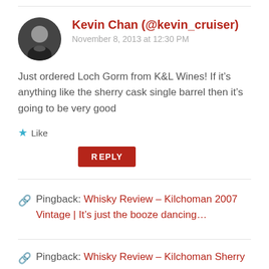Kevin Chan (@kevin_cruiser)
November 8, 2013 at 12:30 PM
Just ordered Loch Gorm from K&L Wines! If it’s anything like the sherry cask single barrel then it’s going to be very good
★ Like
REPLY
Pingback: Whisky Review – Kilchoman 2007 Vintage | It’s just the booze dancing...
Pingback: Whisky Review – Kilchoman Sherry